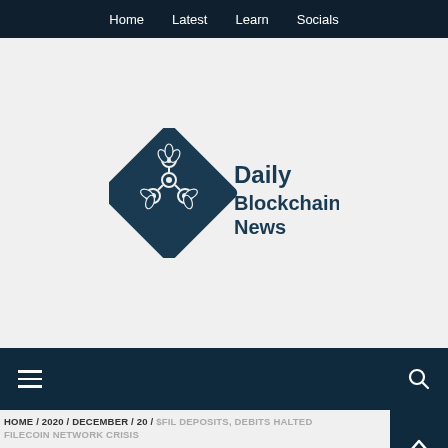Home  Latest  Learn  Socials
[Figure (logo): Daily Blockchain News logo: dark blue diamond shape with hexagonal/molecular pattern inside, next to text 'Daily Blockchain News' in dark blue]
≡  🔍
HOME / 2020 / DECEMBER / 20 / $FIL DEPOSITS, DEBITS HALTED FILECOIN NETWORK CRISIS